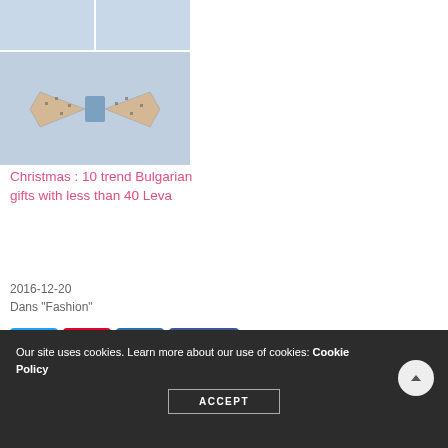[Figure (photo): Two small photos top row showing wooden bow tie pieces, and one large photo below showing a wooden bow tie with blue fabric center and dot pattern, on light blue background]
Christmas : 10 trend Bulgarian gifts with less than 40 Leva
2016-12-20
Dans "Fashion"
Social share buttons: Twitter, Pinterest, LinkedIn, Facebook (28), 28 PARTAGES
TAGS: ART, ARTIST, BULGARIAN ARTISTS, CHRISTMAS, CRAFTMEN, DESIGN, EVENT, SOFIA, SOHO SOFIA, WEEK-END
Our site uses cookies. Learn more about our use of cookies: Cookie Policy
ACCEPT